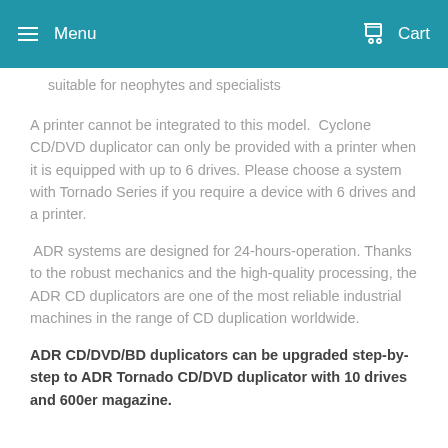Menu  Cart
suitable for neophytes and specialists
A printer cannot be integrated to this model.  Cyclone CD/DVD duplicator can only be provided with a printer when it is equipped with up to 6 drives. Please choose a system with Tornado Series if you require a device with 6 drives and a printer.
ADR systems are designed for 24-hours-operation. Thanks to the robust mechanics and the high-quality processing, the ADR CD duplicators are one of the most reliable industrial machines in the range of CD duplication worldwide.
ADR CD/DVD/BD duplicators can be upgraded step-by-step to ADR Tornado CD/DVD duplicator with 10 drives and 600er magazine.